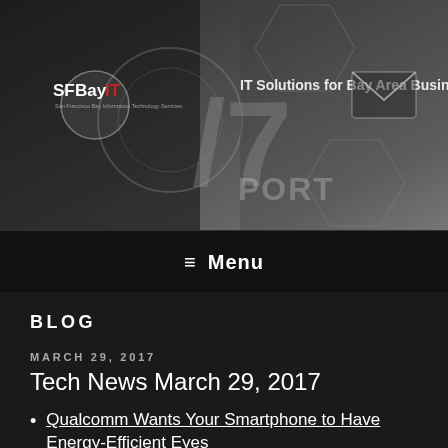[Figure (screenshot): SF Bay IT website header banner with logo, hexagonal background pattern, person touching digital interface, IT Solutions for Bay Area Businesses text, and envelope icon]
≡ Menu
BLOG
MARCH 29, 2017
Tech News March 29, 2017
Qualcomm Wants Your Smartphone to Have Energy-Efficient Eyes
This power-sipping image sensor uses computer vision to help you unlock your phone.